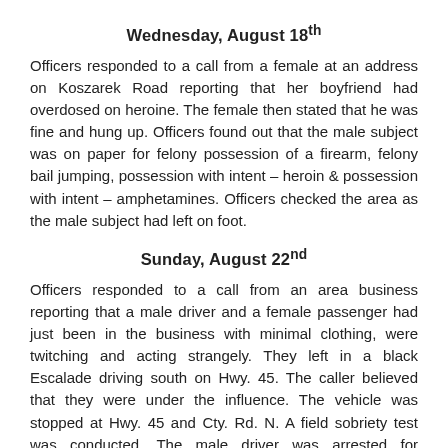Wednesday, August 18th
Officers responded to a call from a female at an address on Koszarek Road reporting that her boyfriend had overdosed on heroine. The female then stated that he was fine and hung up. Officers found out that the male subject was on paper for felony possession of a firearm, felony bail jumping, possession with intent – heroin & possession with intent – amphetamines. Officers checked the area as the male subject had left on foot.
Sunday, August 22nd
Officers responded to a call from an area business reporting that a male driver and a female passenger had just been in the business with minimal clothing, were twitching and acting strangely. They left in a black Escalade driving south on Hwy. 45. The caller believed that they were under the influence. The vehicle was stopped at Hwy. 45 and Cty. Rd. N. A field sobriety test was conducted. The male driver was arrested for operating while intoxicated, 2nd offense and was cited for having no